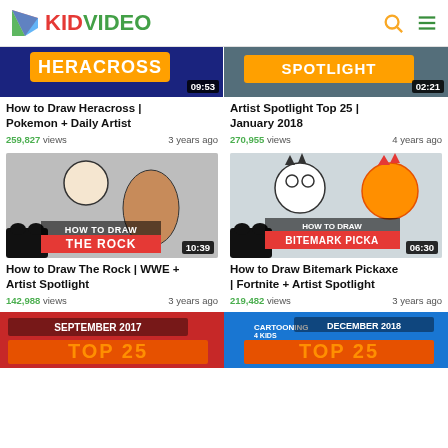KIDVIDEO
[Figure (screenshot): Thumbnail for 'How to Draw Heracross | Pokemon + Daily Artist' with duration badge 09:53]
How to Draw Heracross | Pokemon + Daily Artist
259,827 views   3 years ago
[Figure (screenshot): Thumbnail for 'Artist Spotlight Top 25 | January 2018' with duration badge 02:21]
Artist Spotlight Top 25 | January 2018
270,955 views   4 years ago
[Figure (screenshot): Thumbnail for 'How to Draw The Rock | WWE + Artist Spotlight' with duration badge 10:39]
How to Draw The Rock | WWE + Artist Spotlight
142,988 views   3 years ago
[Figure (screenshot): Thumbnail for 'How to Draw Bitemark Pickaxe | Fortnite + Artist Spotlight' with duration badge 06:30]
How to Draw Bitemark Pickaxe | Fortnite + Artist Spotlight
219,482 views   3 years ago
[Figure (screenshot): Thumbnail for September 2017 video (partially visible)]
[Figure (screenshot): Thumbnail for Cartooning 4 Kids December 2018 video (partially visible)]